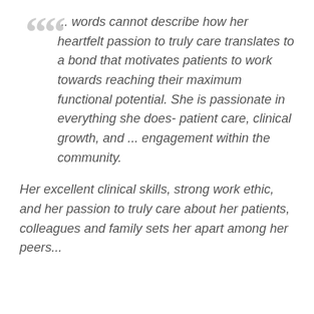... words cannot describe how her heartfelt passion to truly care translates to a bond that motivates patients to work towards reaching their maximum functional potential. She is passionate in everything she does- patient care, clinical growth, and ... engagement within the community.
Her excellent clinical skills, strong work ethic, and her passion to truly care about her patients, colleagues and family sets her apart among her peers...